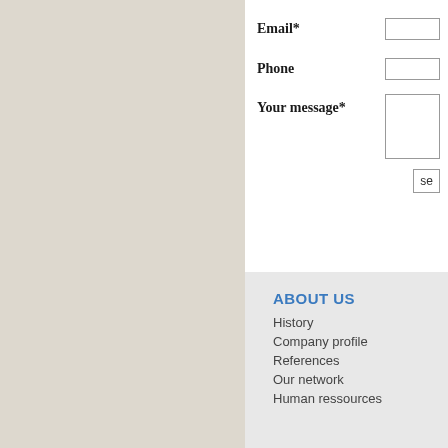Email*
Phone
Your message*
se
ABOUT US
History
Company profile
References
Our network
Human ressources